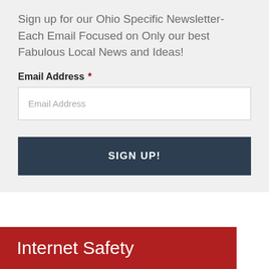Sign up for our Ohio Specific Newsletter- Each Email Focused on Only our best Fabulous Local News and Ideas!
Email Address *
[Figure (screenshot): Email address input form field with placeholder text 'Email Address']
SIGN UP!
Internet Safety